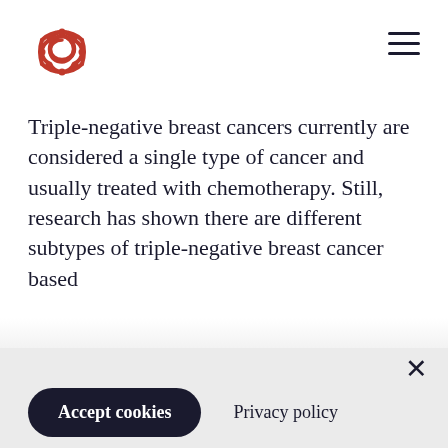[Logo] [Hamburger menu]
Triple-negative breast cancers currently are considered a single type of cancer and usually treated with chemotherapy. Still, research has shown there are different subtypes of triple-negative breast cancer based
By clicking “Accept All Cookies”, you agree to the storing of cookies on your device to enhance site navigation, analyze site usage, and assist in our marketing efforts. For more information about the cookies we use and how to manage them, please see our Cookie Notice.
Accept cookies
Privacy policy